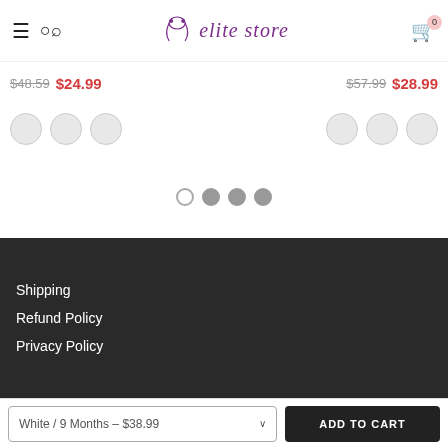elite store — navigation header with hamburger, search, logo, cart (0)
$48.59  $24.99   $57.99  $28.99
[Figure (other): Color swatch circles — 3 on left, 3 on right]
[Figure (other): Carousel pagination dots: 1 empty, 3 filled]
Shipping
Refund Policy
Privacy Policy
White / 9 Months – $38.99
ADD TO CART